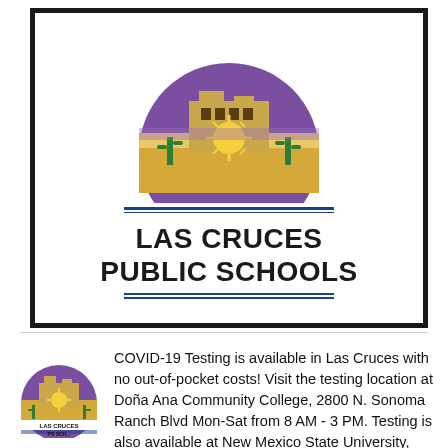[Figure (logo): Las Cruces Public Schools logo showing a pueblo building under a purple sky with a Zia sun symbol, cacti, and desert landscape, with the text LAS CRUCES PUBLIC SCHOOLS below blue horizontal lines, all inside a thick black border box]
[Figure (logo): Small Las Cruces Public Schools logo thumbnail]
COVID-19 Testing is available in Las Cruces with no out-of-pocket costs! Visit the testing location at Doña Ana Community College, 2800 N. Sonoma Ranch Blvd Mon-Sat from 8 AM - 3 PM. Testing is also available at New Mexico State University, (Lot #27) 1738 E. University Avenue Mon-Fri from 8 AM - 3 PM. Pre-registration is...